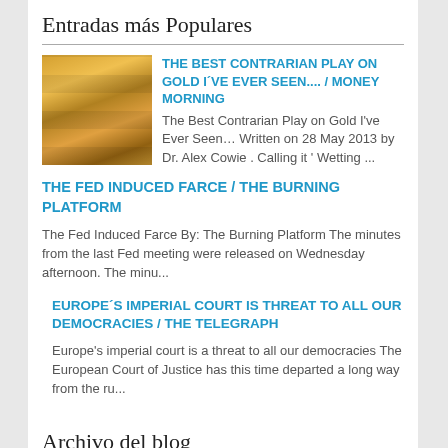Entradas más Populares
[Figure (photo): Stack of gold bars]
THE BEST CONTRARIAN PLAY ON GOLD I'VE EVER SEEN.... / MONEY MORNING
The Best Contrarian Play on Gold I've Ever Seen… Written on 28 May 2013 by Dr. Alex Cowie  . Calling it ' Wetting ...
THE FED INDUCED FARCE / THE BURNING PLATFORM
The Fed Induced Farce By: The Burning Platform The minutes from the last Fed meeting were released on Wednesday afternoon. The minu...
EUROPE´S IMPERIAL COURT IS THREAT TO ALL OUR DEMOCRACIES / THE TELEGRAPH
Europe's imperial court is a threat to all our democracies The European Court of Justice has this time departed a long way from the ru...
Archivo del blog
► 2022 (1085)